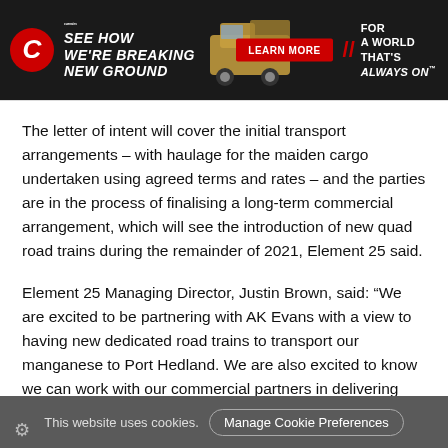[Figure (infographic): Cummins advertisement banner: dark background with Cummins logo, bold white italic text 'SEE HOW WE'RE BREAKING NEW GROUND', a mining dump truck image, red 'LEARN MORE' button, red double-slash divider, and text 'FOR A WORLD THAT'S ALWAYS ON']
The letter of intent will cover the initial transport arrangements – with haulage for the maiden cargo undertaken using agreed terms and rates – and the parties are in the process of finalising a long-term commercial arrangement, which will see the introduction of new quad road trains during the remainder of 2021, Element 25 said.
Element 25 Managing Director, Justin Brown, said: “We are excited to be partnering with AK Evans with a view to having new dedicated road trains to transport our manganese to Port Hedland. We are also excited to know we can work with our commercial partners in delivering solutions to fulfil our vision of delivering Zero Carbon…
This website uses cookies.